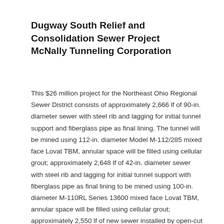Dugway South Relief and Consolidation Sewer Project
McNally Tunneling Corporation
This $26 million project for the Northeast Ohio Regional Sewer District consists of approximately 2,666 lf of 90-in. diameter sewer with steel rib and lagging for initial tunnel support and fiberglass pipe as final lining. The tunnel will be mined using 112-in. diameter Model M-112/285 mixed face Lovat TBM, annular space will be filled using cellular grout; approximately 2,648 lf of 42-in. diameter sewer with steel rib and lagging for initial tunnel support with fiberglass pipe as final lining to be mined using 100-in. diameter M-110RL Series 13600 mixed face Lovat TBM, annular space will be filled using cellular grout; approximately 2,550 lf of new sewer installed by open-cut from 12-in. to 72-in. diameter; construction of five cast-in-place concrete flow control